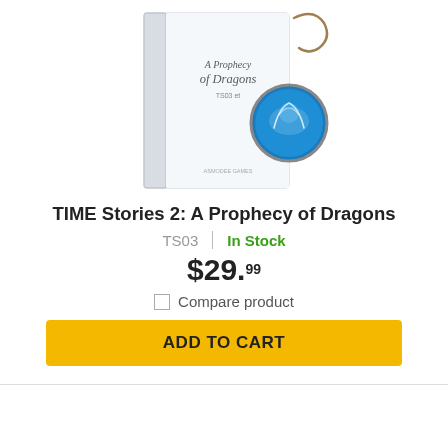[Figure (photo): Product image of TIME Stories 2: A Prophecy of Dragons box set with a decorative dragon pendant/medallion on a string, displayed at an angle on a white background.]
TIME Stories 2: A Prophecy of Dragons
TS03  |  In Stock
$29.99
Compare product
ADD TO CART